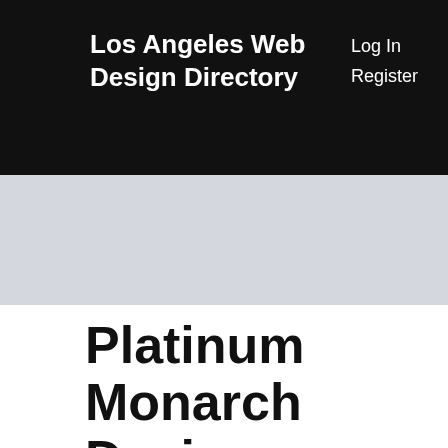Los Angeles Web Design Directory
Log In
Register
[Figure (other): Light gray banner/ad area below the header navigation bar]
Platinum Monarch Design
www.platinummonarchdesign.com
Platinum Monarch Design offers innovative web and print solutions to a variety of clients. Whether your website will cater to the needs of a growing client base, or your business card will lead your introductions. PMD can help you reach your target